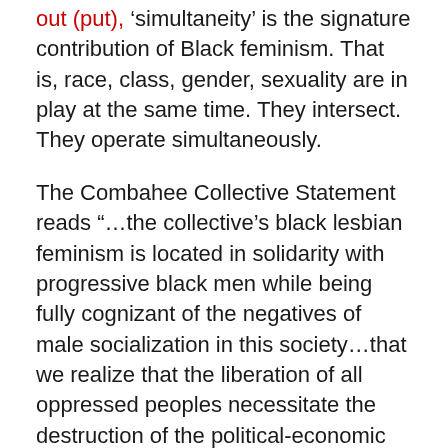out (put), 'simultaneity' is the signature contribution of Black feminism. That is, race, class, gender, sexuality are in play at the same time. They intersect. They operate simultaneously.
The Combahee Collective Statement reads “…the collective’s black lesbian feminism is located in solidarity with progressive black men while being fully cognizant of the negatives of male socialization in this society…that we realize that the liberation of all oppressed peoples necessitate the destruction of the political-economic systems of capitalism and imperialism as well as patriarchy.”
The queer Black feminist insurgency of the #blacklivesmatter movement today draws heavily on the Collective’s contribution. The idea of resistance to capitalism, patriarchy, and white supremacy informs the insurgency of the women of Black Lives Matter – queer, cis, trans